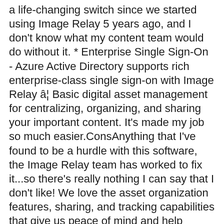a life-changing switch since we started using Image Relay 5 years ago, and I don't know what my content team would do without it. * Enterprise Single Sign-On - Azure Active Directory supports rich enterprise-class single sign-on with Image Relay â¦ Basic digital asset management for centralizing, organizing, and sharing your important content. It's made my job so much easier.ConsAnything that I've found to be a hurdle with this software, the Image Relay team has worked to fix it...so there's really nothing I can say that I don't like! We love the asset organization features, sharing, and tracking capabilities that give us peace of mind and help Driven remain a well oiled machine. Sign up for Image Relay. Pricing options. I'd recommend this software to anyone tasked with managing and sharing assets, especially A LOT of them. Learn more about Image Relay pricing. $99/month. Image Relay Pricing Overview . ", Recreational Facilities and Services, 1001-5000 employees, Senior Director of Marketing and Brand Strategy. And if you ever need anything, we're right here, ready to jump in and help. Starting Price. They do not